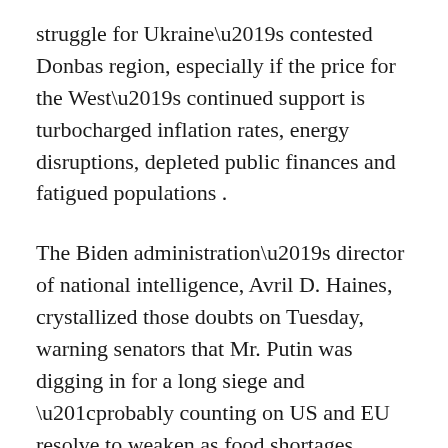struggle for Ukraine's contested Donbas region, especially if the price for the West's continued support is turbocharged inflation rates, energy disruptions, depleted public finances and fatigued populations .
The Biden administration's director of national intelligence, Avril D. Haines, crystallized those doubts on Tuesday, warning senators that Mr. Putin was digging in for a long siege and “probably counting on US and EU resolve to weaken as food shortages, inflation and energy shortages get worse.”
On Wednesday, Mr. Biden traveled to a farm in Kankakee, Ill., to make the case that Mr. Putin’s